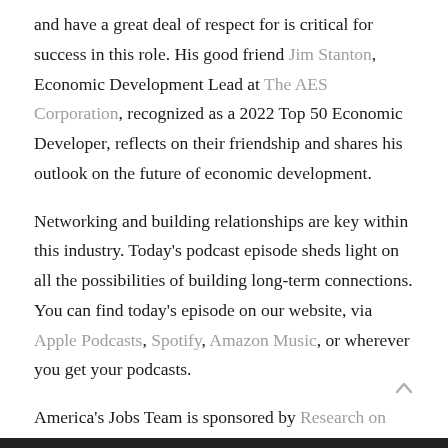and have a great deal of respect for is critical for success in this role. His good friend Jim Stanton, Economic Development Lead at The AES Corporation, recognized as a 2022 Top 50 Economic Developer, reflects on their friendship and shares his outlook on the future of economic development.
Networking and building relationships are key within this industry. Today's podcast episode sheds light on all the possibilities of building long-term connections. You can find today's episode on our website, via Apple Podcasts, Spotify, Amazon Music, or wherever you get your podcasts.
America's Jobs Team is sponsored by Research on Investment / Gazelle.ai